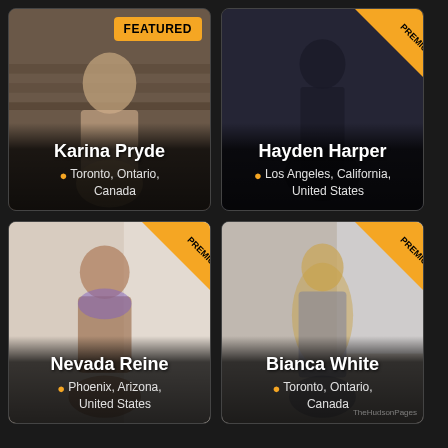[Figure (photo): Card for Karina Pryde with FEATURED badge, photo background, name and Toronto Ontario Canada location]
[Figure (photo): Card for Hayden Harper with PREMIUM ribbon badge, dark background, name and Los Angeles California United States location]
[Figure (photo): Card for Nevada Reine with PREMIUM ribbon badge, light background, name and Phoenix Arizona United States location]
[Figure (photo): Card for Bianca White with PREMIUM ribbon badge, outdoor background, name and Toronto Ontario Canada location with TheHudsonPages watermark]